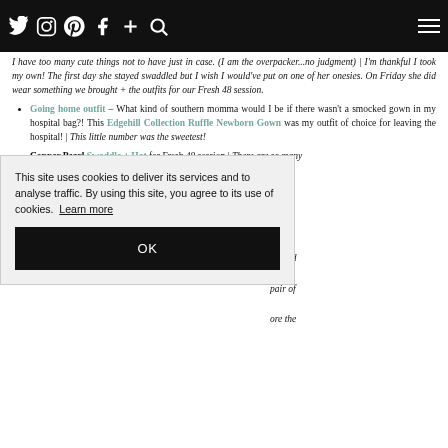Navigation bar with social icons: Twitter, Instagram, Pinterest, Facebook, Plus, Search, Hamburger menu
I have too many cute things not to have just in case. (I am the overpacker...no judgment) | I'm thankful I took my own! The first day she stayed swaddled but I wish I would've put on one of her onesies. On Friday she did wear something we brought + the outfits for our Fresh 48 session.
Going home outfit – What kind of southern momma would I be if there wasn't a smocked gown in my hospital bag?! This Edgehill Collection Ruffle Newborn Gown was my outfit of choice for leaving the hospital! | This little number was the sweetest!
Copper Pearl Swaddle + Hat for Fresh 48 session | There are so many [partial — continued behind cookie overlay] ...t was ...Luke's ...y. The ...n't find ...pair of ...ore the
[Figure (screenshot): Cookie consent popup overlay: 'This site uses cookies to deliver its services and to analyse traffic. By using this site, you agree to its use of cookies. Learn more' with OK button]